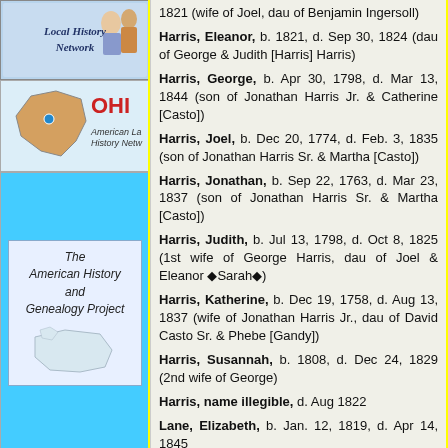[Figure (illustration): Local History Network logo - top banner with illustrated figures and text 'Local History Network']
[Figure (illustration): Ohio American Local History Network logo with Ohio state shape and text 'OHIO American Local History Netw...']
[Figure (illustration): The American History and Genealogy Project logo on blue background with US map illustration]
1821 (wife of Joel, dau of Benjamin Ingersoll)
Harris, Eleanor, b. 1821, d. Sep 30, 1824 (dau of George & Judith [Harris] Harris)
Harris, George, b. Apr 30, 1798, d. Mar 13, 1844 (son of Jonathan Harris Jr. & Catherine [Casto])
Harris, Joel, b. Dec 20, 1774, d. Feb. 3, 1835 (son of Jonathan Harris Sr. & Martha [Casto])
Harris, Jonathan, b. Sep 22, 1763, d. Mar 23, 1837 (son of Jonathan Harris Sr. & Martha [Casto])
Harris, Judith, b. Jul 13, 1798, d. Oct 8, 1825 (1st wife of George Harris, dau of Joel & Eleanor ◆Sarah◆)
Harris, Katherine, b. Dec 19, 1758, d. Aug 13, 1837 (wife of Jonathan Harris Jr., dau of David Casto Sr. & Phebe [Gandy])
Harris, Susannah, b. 1808, d. Dec 24, 1829 (2nd wife of George)
Harris, name illegible, d. Aug 1822
Lane, Elizabeth, b. Jan. 12, 1819, d. Apr 14, 1845 (wife of Otis D. Wil...)